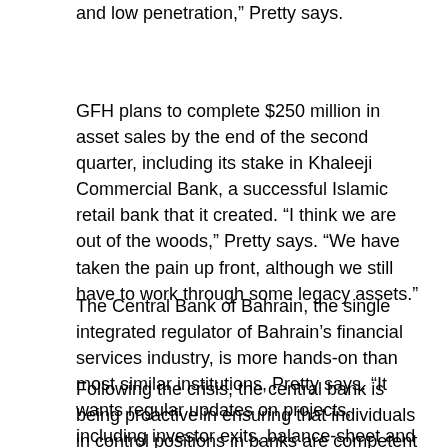and low penetration," Pretty says.
GFH plans to complete $250 million in asset sales by the end of the second quarter, including its stake in Khaleeji Commercial Bank, a successful Islamic retail bank that it created. “I think we are out of the woods,” Pretty says. “We have taken the pain up front, although we still have to work through some legacy assets.”
The Central Bank of Bahrain, the single integrated regulator of Bahrain’s financial services industry, is more hands-on than most similar institutions, Pretty says. “It wants regular updates on projects, including investor exits, balance-sheet and liquidity measures, exposures and compliance,” he says. “We walk them through the results once a week.”
Following the crisis, the central bank is being proactive in ensuring that individuals in control positions in banks are competent by interviewing them before approving their